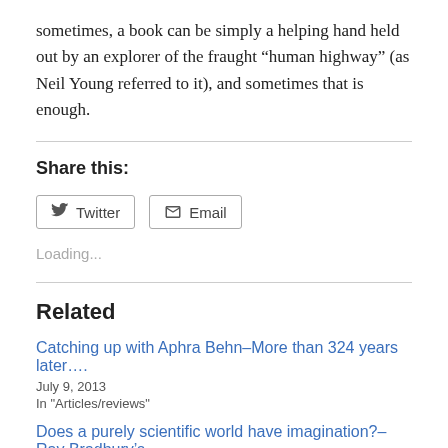sometimes, a book can be simply a helping hand held out by an explorer of the fraught “human highway” (as Neil Young referred to it), and sometimes that is enough.
Share this:
[Figure (other): Social share buttons: Twitter and Email]
Loading...
Related
Catching up with Aphra Behn–More than 324 years later….
July 9, 2013
In "Articles/reviews"
Does a purely scientific world have imagination?–Ray Bradbury’s